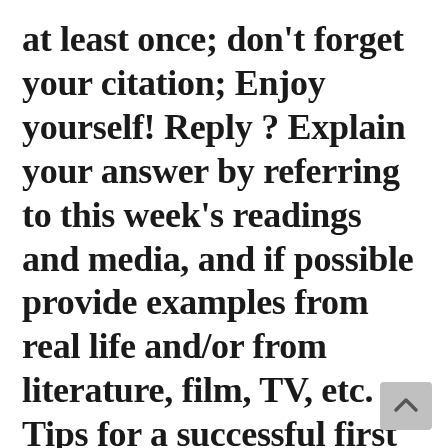at least once; don't forget your citation; Enjoy yourself! Reply ? Explain your answer by referring to this week's readings and media, and if possible provide examples from real life and/or from literature, film, TV, etc. Tips for a successful first post: Organize your post into sections, each with a section heading; Make sure to answer all questions; Quote the text